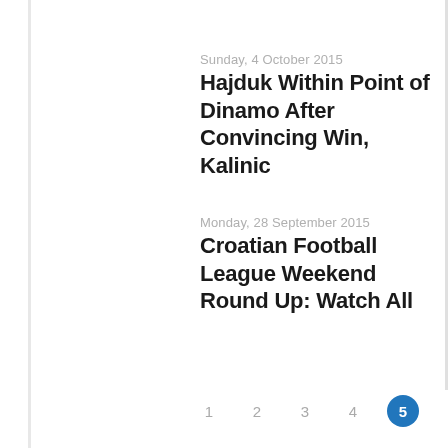Sunday, 4 October 2015
Hajduk Within Point of Dinamo After Convincing Win, Kalinic
Monday, 28 September 2015
Croatian Football League Weekend Round Up: Watch All
1  2  3  4  5